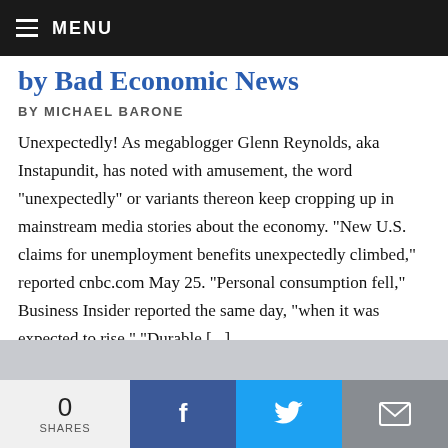MENU
by Bad Economic News
BY MICHAEL BARONE
Unexpectedly! As megablogger Glenn Reynolds, aka Instapundit, has noted with amusement, the word "unexpectedly" or variants thereon keep cropping up in mainstream media stories about the economy. "New U.S. claims for unemployment benefits unexpectedly climbed," reported cnbc.com May 25. "Personal consumption fell," Business Insider reported the same day, "when it was expected to rise." "Durable [...]
0 SHARES